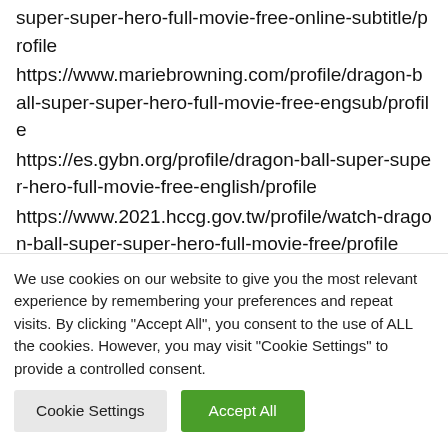super-super-hero-full-movie-free-online-subtitle/profile
https://www.mariebrowning.com/profile/dragon-ball-super-super-hero-full-movie-free-engsub/profile
https://es.gybn.org/profile/dragon-ball-super-super-hero-full-movie-free-english/profile
https://www.2021.hccg.gov.tw/profile/watch-dragon-ball-super-super-hero-full-movie-free/profile
https://www.omensetlion.com/profile/watch...
We use cookies on our website to give you the most relevant experience by remembering your preferences and repeat visits. By clicking "Accept All", you consent to the use of ALL the cookies. However, you may visit "Cookie Settings" to provide a controlled consent.